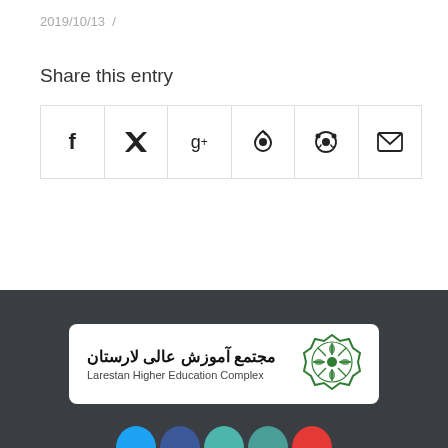2019/10/13 /
Share this entry
[Figure (infographic): Social sharing buttons row: Facebook, Twitter, Google+, Pinterest, Reddit, Email]
[Figure (logo): Larestan Higher Education Complex logo card with Arabic text مجتمع آموزش عالی لارستان and ornamental green emblem]
[Figure (illustration): Colored social media circle icons at the bottom: Twitter (blue), Facebook (blue), teal, teal, red]